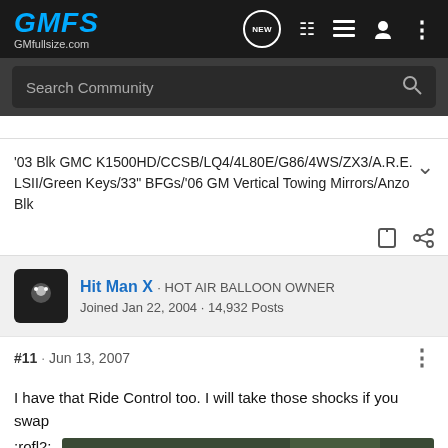GMFS GMfullsize.com
Search Community
'03 Blk GMC K1500HD/CCSB/LQ4/4L80E/G86/4WS/ZX3/A.R.E. LSII/Green Keys/33" BFGs/'06 GM Vertical Towing Mirrors/Anzo Blk
Hit Man X · HOT AIR BALLOON OWNER
Joined Jan 22, 2004 · 14,932 Posts
#11 · Jun 13, 2007
I have that Ride Control too. I will take those shocks if you swap :rofl2:
[Figure (screenshot): Advertisement for The New 2022 Silverado by Chevrolet with Explore button]